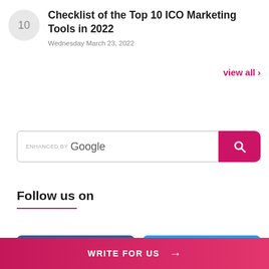Checklist of the Top 10 ICO Marketing Tools in 2022
Wednesday March 23, 2022
view all ›
[Figure (other): Enhanced by Google search bar with pink search button]
Follow us on
[Figure (other): Facebook button]
[Figure (other): Twitter button]
WRITE FOR US →